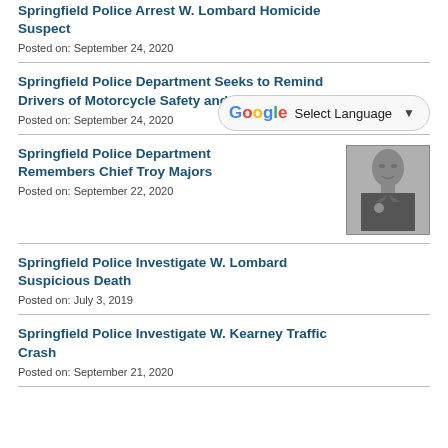Springfield Police Arrest W. Lombard Homicide Suspect
Posted on: September 24, 2020
Springfield Police Department Seeks to Remind Drivers of Motorcycle Safety and Awareness
Posted on: September 24, 2020
Springfield Police Department Remembers Chief Troy Majors
Posted on: September 22, 2020
[Figure (photo): Black and white portrait photo of Chief Troy Majors in police uniform]
Springfield Police Investigate W. Lombard Suspicious Death
Posted on: July 3, 2019
Springfield Police Investigate W. Kearney Traffic Crash
Posted on: September 21, 2020